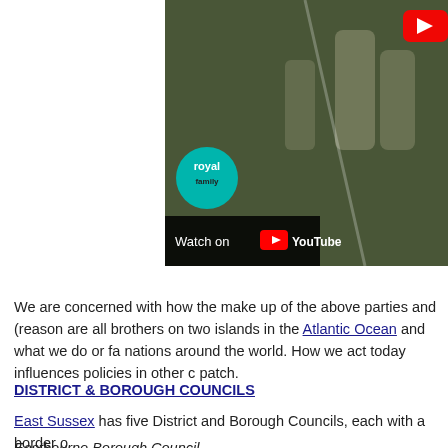[Figure (screenshot): YouTube video thumbnail showing two people in white clothing. A 'royal family' branded logo (teal circle) is visible, along with a 'Watch on YouTube' overlay bar at the bottom and a YouTube play button icon in the top right corner.]
We are concerned with how the make up of the above parties and (reason are all brothers on two islands in the Atlantic Ocean and what we do or fa nations around the world. How we act today influences policies in other c patch.
DISTRICT & BOROUGH COUNCILS
East Sussex has five District and Borough Councils, each with a border o
Eastbourne Borough Council